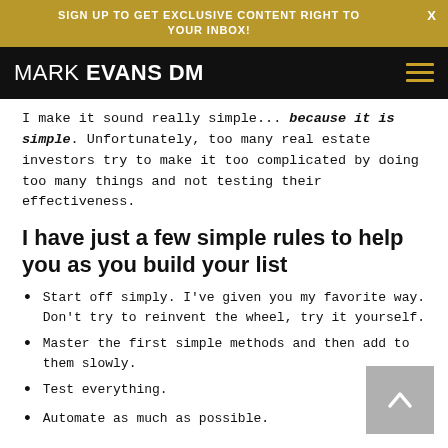SIGN UP TO GET EXCLUSIVE CONTENT RIGHT TO YOUR INBOX!
MARK EVANS DM
I make it sound really simple... because it is simple. Unfortunately, too many real estate investors try to make it too complicated by doing too many things and not testing their effectiveness.
I have just a few simple rules to help you as you build your list
Start off simply. I've given you my favorite way. Don't try to reinvent the wheel, try it yourself.
Master the first simple methods and then add to them slowly.
Test everything.
Automate as much as possible.